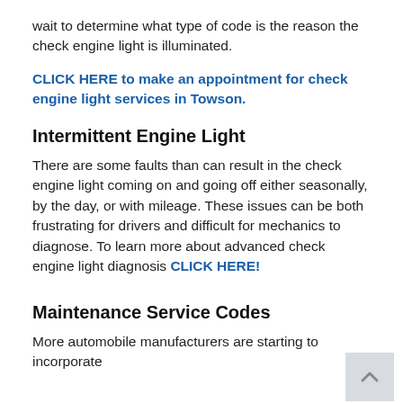wait to determine what type of code is the reason the check engine light is illuminated.
CLICK HERE to make an appointment for check engine light services in Towson.
Intermittent Engine Light
There are some faults than can result in the check engine light coming on and going off either seasonally, by the day, or with mileage. These issues can be both frustrating for drivers and difficult for mechanics to diagnose. To learn more about advanced check engine light diagnosis CLICK HERE!
Maintenance Service Codes
More automobile manufacturers are starting to incorporate